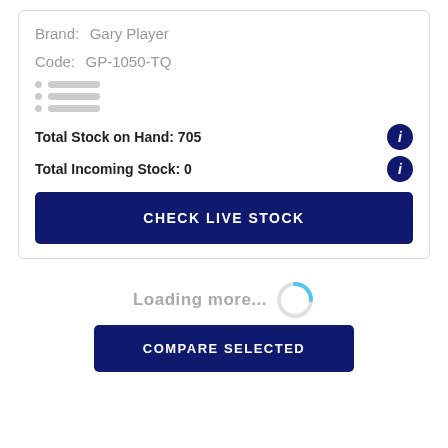Brand:  Gary Player
Code:  GP-1050-TQ
[Figure (other): Placeholder list icon with three rows of dot and gray bar]
Total Stock on Hand: 705
Total Incoming Stock: 0
CHECK LIVE STOCK
Loading more...
COMPARE SELECTED